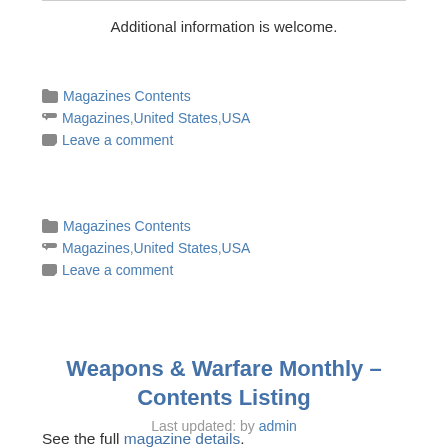Additional information is welcome.
Magazines Contents
Magazines, United States, USA
Leave a comment
Magazines Contents
Magazines, United States, USA
Leave a comment
Weapons & Warfare Monthly – Contents Listing
Last updated: by admin
See the full magazine details.